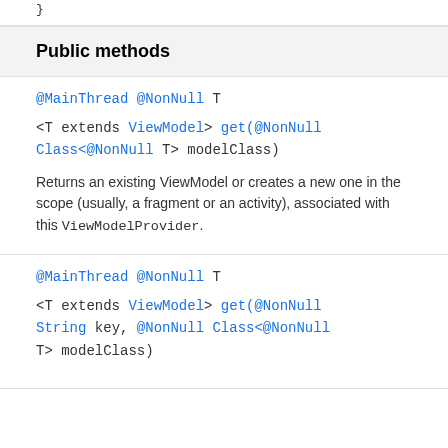}
Public methods
@MainThread @NonNull T
<T extends ViewModel> get(@NonNull Class<@NonNull T> modelClass)
Returns an existing ViewModel or creates a new one in the scope (usually, a fragment or an activity), associated with this ViewModelProvider.
@MainThread @NonNull T
<T extends ViewModel> get(@NonNull String key, @NonNull Class<@NonNull T> modelClass)